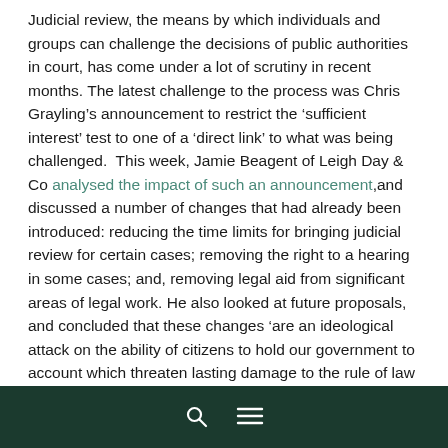Judicial review, the means by which individuals and groups can challenge the decisions of public authorities in court, has come under a lot of scrutiny in recent months. The latest challenge to the process was Chris Grayling's announcement to restrict the 'sufficient interest' test to one of a 'direct link' to what was being challenged.  This week, Jamie Beagent of Leigh Day & Co analysed the impact of such an announcement,and discussed a number of changes that had already been introduced: reducing the time limits for bringing judicial review for certain cases; removing the right to a hearing in some cases; and, removing legal aid from significant areas of legal work. He also looked at future proposals, and concluded that these changes 'are an ideological attack on the ability of citizens to hold our government to account which threaten lasting damage to the rule of law in this country'.
search menu